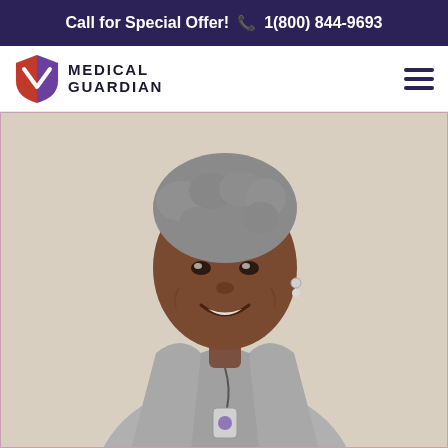Call for Special Offer!  1(800) 844-9693
[Figure (logo): Medical Guardian logo — shield icon with red and purple shield, company name MEDICAL GUARDIAN in bold dark navy text]
[Figure (photo): Smiling elderly Black woman with short curly gray hair, wearing a yellow shirt and gray cardigan, with a Medical Guardian personal emergency response device worn as a pendant around her neck. Purple decorative blob shapes in the background.]